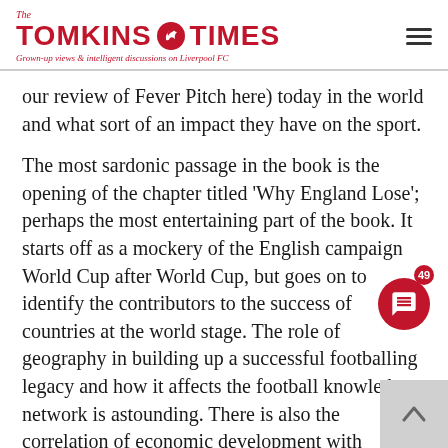The Tomkins Times — Grown-up views & intelligent discussions on Liverpool FC
our review of Fever Pitch here) today in the world and what sort of an impact they have on the sport.
The most sardonic passage in the book is the opening of the chapter titled 'Why England Lose'; perhaps the most entertaining part of the book. It starts off as a mockery of the English campaign World Cup after World Cup, but goes on to identify the contributors to the success of countries at the world stage. The role of geography in building up a successful footballing legacy and how it affects the football knowledge network is astounding. There is also the correlation of economic development with success in football and I will leave it to Simon and Stefan to unravel it for you.